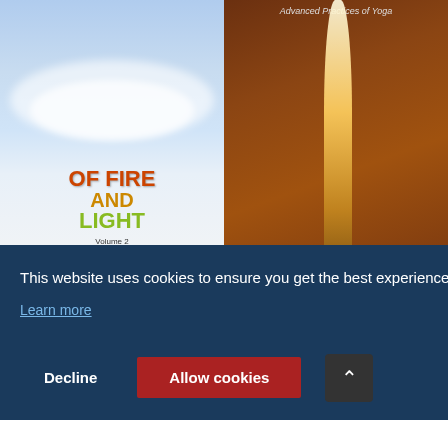[Figure (photo): Book cover: Path of Fire and Light Volume 2, A Practical Companion to Volume 1 by Swami Rama. Sky and clouds background with colorful title text.]
[Figure (photo): Book cover: Path of Fire and Light, Advanced Practices of Yoga by Swami Rama. Dark reddish-brown background with a glowing light beam/trail going upward.]
PATH OF FIRE AND
PATH OF FIRE AND   MI
This website uses cookies to ensure you get the best experience on our website.
Learn more
Decline
Allow cookies
etails
[Figure (photo): Bottom left: partial book cover showing 'Copyrighted Material' text, light background.]
[Figure (photo): Bottom right: partial book cover with green/teal background.]